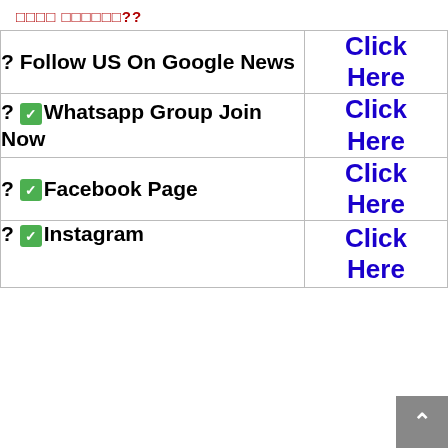□□□□ □□□□□□??
| Action | Link |
| --- | --- |
| ? Follow US On Google News | Click Here |
| ? ✅Whatsapp Group Join Now | Click Here |
| ? ✅Facebook Page | Click Here |
| ? ✅Instagram | Click Here |